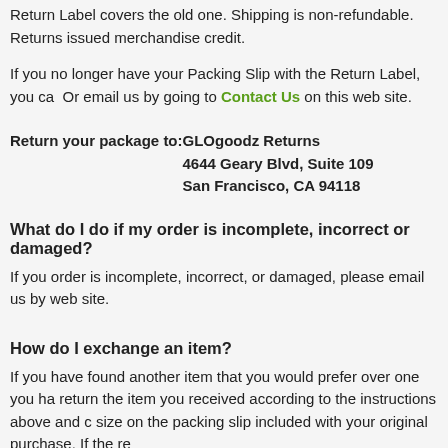Return Label covers the old one. Shipping is non-refundable. Returns issued merchandise credit.
If you no longer have your Packing Slip with the Return Label, you ca... Or email us by going to Contact Us on this web site.
Return your package to:    GLOgoodz Returns  4644 Geary Blvd, Suite 109  San Francisco, CA 94118
What do I do if my order is incomplete, incorrect or damaged?
If you order is incomplete, incorrect, or damaged, please email us by... web site.
How do I exchange an item?
If you have found another item that you would prefer over one you ha... return the item you received according to the instructions above and ... size on the packing slip included with your original purchase. If the re...